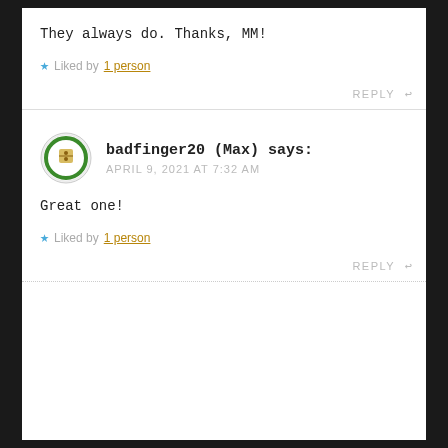They always do. Thanks, MM!
Liked by 1 person
REPLY
badfinger20 (Max) says: APRIL 9, 2021 AT 7:32 AM
Great one!
Liked by 1 person
REPLY